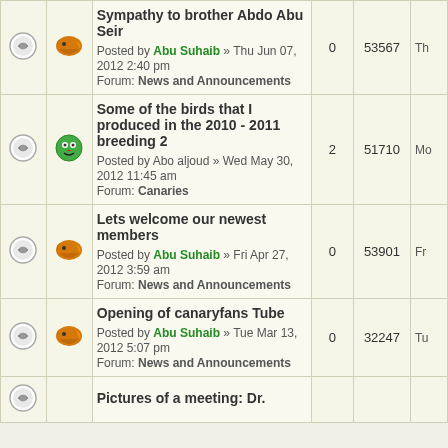|  |  | Topic | Replies | Views | Last post |
| --- | --- | --- | --- | --- | --- |
| [icon] | [bird icon] | Sympathy to brother Abdo Abu Seir
Posted by Abu Suhaib » Thu Jun 07, 2012 2:40 pm
Forum: News and Announcements | 0 | 53567 | Th... |
| [icon] | [smiley icon] | Some of the birds that I produced in the 2010 - 2011 breeding 2
Posted by Abo aljoud » Wed May 30, 2012 11:45 am
Forum: Canaries | 2 | 51710 | Mo... |
| [icon] | [bird icon] | Lets welcome our newest members
Posted by Abu Suhaib » Fri Apr 27, 2012 3:59 am
Forum: News and Announcements | 0 | 53901 | Fr... |
| [icon] | [bird icon] | Opening of canaryfans Tube
Posted by Abu Suhaib » Tue Mar 13, 2012 5:07 pm
Forum: News and Announcements | 0 | 32247 | Tu... |
| [icon] |  | Pictures of a meeting: Dr. |  |  |  |